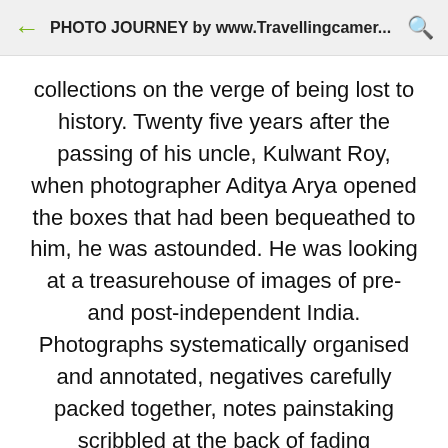PHOTO JOURNEY by www.Travellingcamer...
collections on the verge of being lost to history. Twenty five years after the passing of his uncle, Kulwant Roy, when photographer Aditya Arya opened the boxes that had been bequeathed to him, he was astounded. He was looking at a treasurehouse of images of pre- and post-independent India. Photographs systematically organised and annotated, negatives carefully packed together, notes painstaking scribbled at the back of fading photographs.
A lifetime of work of photojournalist, Kulwant Roy,